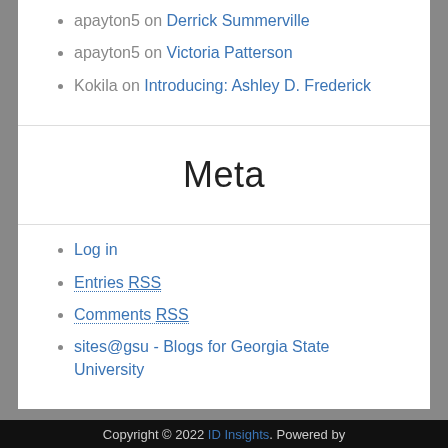apayton5 on Derrick Summerville
apayton5 on Victoria Patterson
Kokila on Introducing: Ashley D. Frederick
Meta
Log in
Entries RSS
Comments RSS
sites@gsu - Blogs for Georgia State University
Copyright © 2022 ID Insights. Powered by